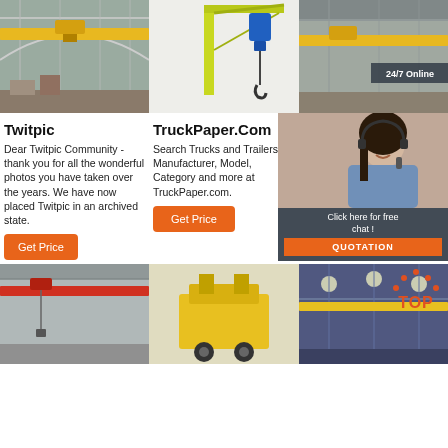[Figure (photo): Overhead bridge crane inside industrial warehouse, yellow beam]
[Figure (photo): Yellow jib crane with blue electric hoist on white background]
[Figure (photo): Overhead bridge crane inside factory, 24/7 Online badge overlay]
Twitpic
Dear Twitpic Community - thank you for all the wonderful photos you have taken over the years. We have now placed Twitpic in an archived state.
[Figure (infographic): Get Price orange button under Twitpic column]
TruckPaper.Com
Search Trucks and Trailers by Manufacturer, Model, Category and more at TruckPaper.com.
[Figure (infographic): Get Price orange button under TruckPaper column]
Tracto
Search Equipment Manufacturer, Category and more at Tract
[Figure (infographic): Get Price orange button under Tracto column]
[Figure (photo): Customer service woman with headset, 24/7 online chat overlay with Click here for free chat and QUOTATION button]
[Figure (photo): Red overhead crane in industrial building]
[Figure (photo): Yellow industrial equipment on white/light background]
[Figure (photo): Overhead crane in large industrial warehouse, yellow beam]
[Figure (logo): TOP logo with orange dots arc above the text]